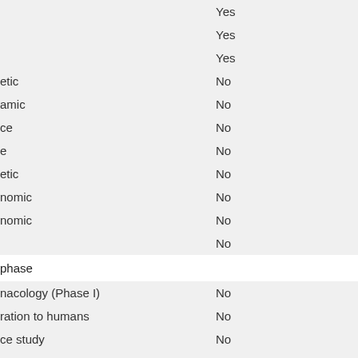|  |  |  |
| --- | --- | --- |
|  | Yes |  |
|  | Yes |  |
|  | Yes |  |
| …etic | No |  |
| …amic | No |  |
| …ce | No |  |
| …e | No |  |
| …etic | No |  |
| …nomic | No |  |
| …nomic | No |  |
|  | No |  |
| …phase |  |  |
| …nacology (Phase I) | No |  |
| …ration to humans | No |  |
| …ce study | No |  |
|  | No |  |
| …e description |  |  |
| …xploratory (Phase II) | No |  |